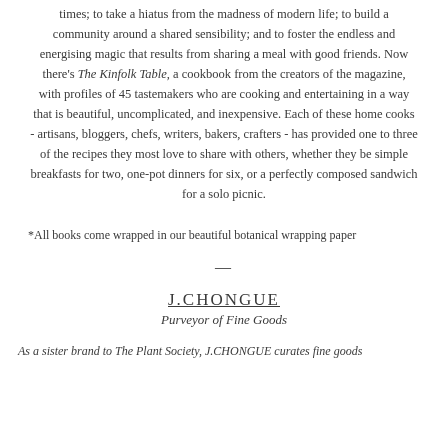times; to take a hiatus from the madness of modern life; to build a community around a shared sensibility; and to foster the endless and energising magic that results from sharing a meal with good friends. Now there's The Kinfolk Table, a cookbook from the creators of the magazine, with profiles of 45 tastemakers who are cooking and entertaining in a way that is beautiful, uncomplicated, and inexpensive. Each of these home cooks - artisans, bloggers, chefs, writers, bakers, crafters - has provided one to three of the recipes they most love to share with others, whether they be simple breakfasts for two, one-pot dinners for six, or a perfectly composed sandwich for a solo picnic.
*All books come wrapped in our beautiful botanical wrapping paper
—
J.CHONGUE
Purveyor of Fine Goods
As a sister brand to The Plant Society, J.CHONGUE curates fine goods